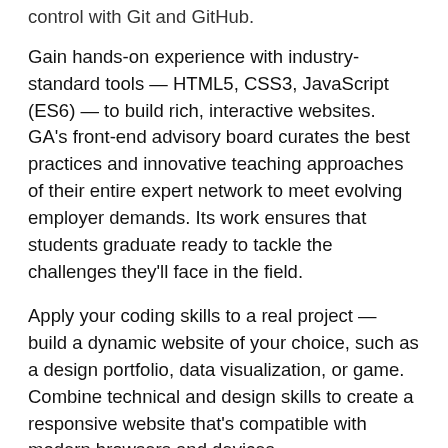control with Git and GitHub.
Gain hands-on experience with industry-standard tools — HTML5, CSS3, JavaScript (ES6) — to build rich, interactive websites. GA's front-end advisory board curates the best practices and innovative teaching approaches of their entire expert network to meet evolving employer demands. Its work ensures that students graduate ready to tackle the challenges they'll face in the field.
Apply your coding skills to a real project — build a dynamic website of your choice, such as a design portfolio, data visualization, or game. Combine technical and design skills to create a responsive website that's compatible with modern browsers and devices.
You'll get a head start with self-paced prep lessons. Once you enroll, General Assembly will equip you with online, self-paced preparatory lessons to set you up for success. Dive into essential web development concepts to gain a common vocabulary and start collaborating with classmates on day one.